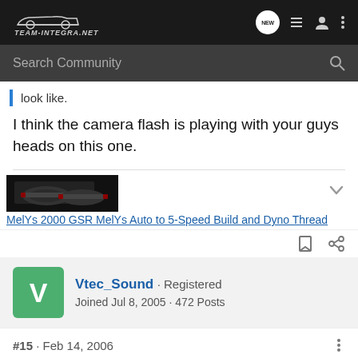Team-Integra.net navigation bar with NEW, list, user, and more icons
Search Community
look like.
I think the camera flash is playing with your guys heads on this one.
[Figure (screenshot): Thumbnail image of cars, likely an Integra build thread preview]
MelYs 2000 GSR MelYs Auto to 5-Speed Build and Dyno Thread
Vtec_Sound · Registered
Joined Jul 8, 2005 · 472 Posts
#15 · Feb 14, 2006